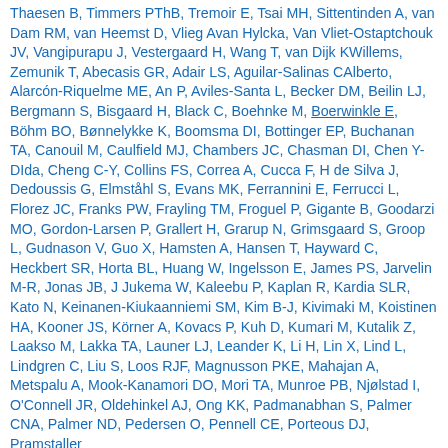Thaesen B, Timmers PThB, Tremoir E, Tsai MH, Sittentinden A, van Dam RM, van Heemst D, Vlieg Avan Hylcka, Van Vliet-Ostaptchouk JV, Vangipurapu J, Vestergaard H, Wang T, van Dijk KWillems, Zemunik T, Abecasis GR, Adair LS, Aguilar-Salinas CAlberto, Alarcón-Riquelme ME, An P, Aviles-Santa L, Becker DM, Beilin LJ, Bergmann S, Bisgaard H, Black C, Boehnke M, Boerwinkle E, Böhm BO, Bønnelykke K, Boomsma DI, Bottinger EP, Buchanan TA, Canouil M, Caulfield MJ, Chambers JC, Chasman DI, Chen Y-DIda, Cheng C-Y, Collins FS, Correa A, Cucca F, H de Silva J, Dedoussis G, Elmståhl S, Evans MK, Ferrannini E, Ferrucci L, Florez JC, Franks PW, Frayling TM, Froguel P, Gigante B, Goodarzi MO, Gordon-Larsen P, Grallert H, Grarup N, Grimsgaard S, Groop L, Gudnason V, Guo X, Hamsten A, Hansen T, Hayward C, Heckbert SR, Horta BL, Huang W, Ingelsson E, James PS, Jarvelin M-R, Jonas JB, J Jukema W, Kaleebu P, Kaplan R, Kardia SLR, Kato N, Keinanen-Kiukaanniemi SM, Kim B-J, Kivimaki M, Koistinen HA, Kooner JS, Körner A, Kovacs P, Kuh D, Kumari M, Kutalik Z, Laakso M, Lakka TA, Launer LJ, Leander K, Li H, Lin X, Lind L, Lindgren C, Liu S, Loos RJF, Magnusson PKE, Mahajan A, Metspalu A, Mook-Kanamori DO, Mori TA, Munroe PB, Njølstad I, O'Connell JR, Oldehinkel AJ, Ong KK, Padmanabhan S, Palmer CNA, Palmer ND, Pedersen O, Pennell CE, Porteous DJ, Pramstaller